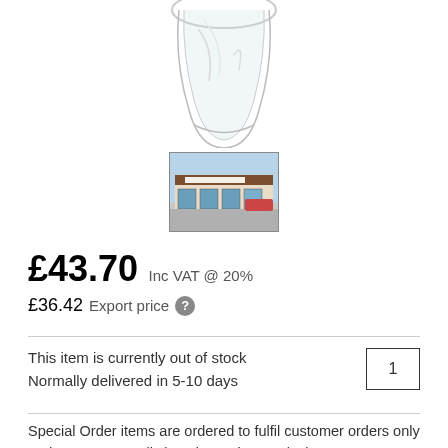[Figure (photo): Product image - partial view of a glass or crystal item, cropped at top]
[Figure (photo): Thumbnail image of a retail store building exterior with signage]
£43.70 Inc VAT @ 20%
£36.42 Export price
This item is currently out of stock
Normally delivered in 5-10 days
Special Order items are ordered to fulfil customer orders only and are not normally kept in stock. Supply times can vary due to situations out of our control.